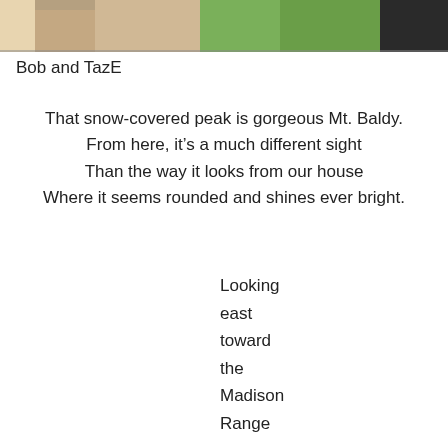[Figure (photo): Partial photo at top of page showing what appears to be people, with green and skin tones visible, cropped at the bottom]
Bob and TazE
That snow-covered peak is gorgeous Mt. Baldy.
From here, it's a much different sight
Than the way it looks from our house
Where it seems rounded and shines ever bright.
Looking
east
toward
the
Madison
Range